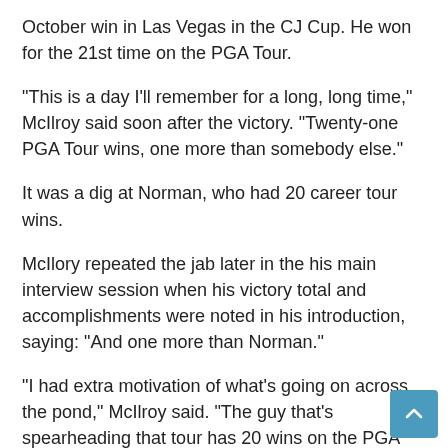October win in Las Vegas in the CJ Cup. He won for the 21st time on the PGA Tour.
“This is a day I’ll remember for a long, long time,” McIlroy said soon after the victory. “Twenty-one PGA Tour wins, one more than somebody else.”
It was a dig at Norman, who had 20 career tour wins.
McIlory repeated the jab later in the his main interview session when his victory total and accomplishments were noted in his introduction, saying: “And one more than Norman.”
“I had extra motivation of what’s going on across the pond,” McIlroy said. “The guy that’s spearheading that tour has 20 wins on the PGA Tour and I was tied with him and I wanted to get one ahead of him. And I did. So, that was really cool for me, just a little sense of pride on that one.”